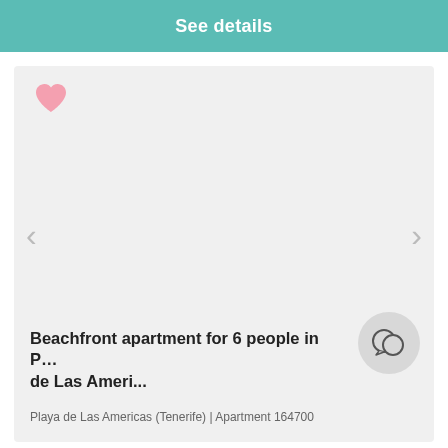See details
[Figure (screenshot): Property listing card with a light gray image placeholder, pink heart favorite icon in top-left, left and right navigation arrows, a chat bubble icon bottom-right, listing title and subtitle at the bottom.]
Beachfront apartment for 6 people in P… de Las Ameri...
Playa de Las Americas (Tenerife) | Apartment 164700